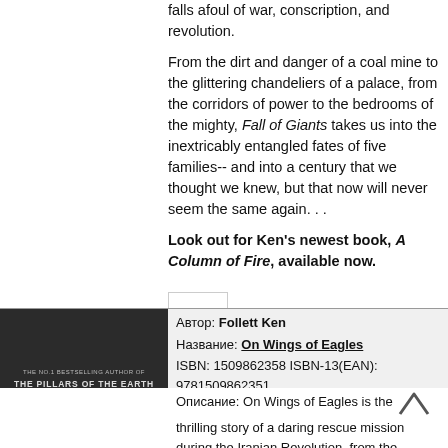falls afoul of war, conscription, and revolution.
From the dirt and danger of a coal mine to the glittering chandeliers of a palace, from the corridors of power to the bedrooms of the mighty, Fall of Giants takes us into the inextricably entangled fates of five families-- and into a century that we thought we knew, but that now will never seem the same again. . .
Look out for Ken's newest book, A Column of Fire, available now.
Автор: Follett Ken
Название: On Wings of Eagles
ISBN: 1509862358 ISBN-13(EAN): 9781509862351
Издательство: Pan Macmillan
Рейтинг:
Цена: от 1010 р.
Наличие на складе: Есть
Описание: On Wings of Eagles is the thrilling story of a daring rescue mission during the Iranian Revolution, from the